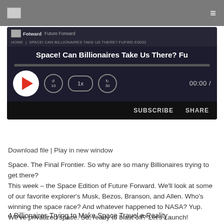Future Forward | HOME | SPACE! CAN BILLIONAIRES TAKE US THERE? FUFWD E0032
[Figure (screenshot): Podcast audio player widget for 'Space! Can Billionaires Take Us There? Fu' episode of Future Forward. Shows play button, progress bar, speed controls (10s back, 1x speed, 30s forward), timestamp 00:00, Subscribe and Share buttons.]
Download file | Play in new window
Space. The Final Frontier. So why are so many Billionaires trying to get there?
This week – the Space Edition of Future Forward. We'll look at some of our favorite explorer's Musk, Bezos, Branson, and Allen. Who's winning the space race? And whatever happened to NASA? Yup. We've privatized space. So, ready to blast off? Let's Launch!
4 Billionaires Trying to Make Space Travel a Reality